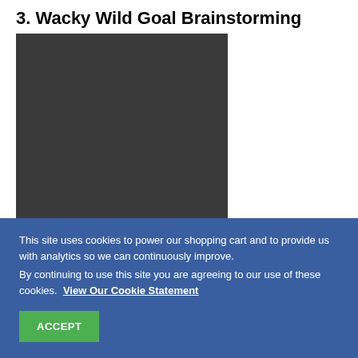3. Wacky Wild Goal Brainstorming
[Figure (other): Dark gray rectangular image placeholder for Wacky Wild Goal Brainstorming section]
This site uses cookies to power our shopping cart and to provide us with analytics so we can continuously improve.
By continuing to use this site you are agreeing to our use of these cookies.  View Our Cookie Statement
ACCEPT